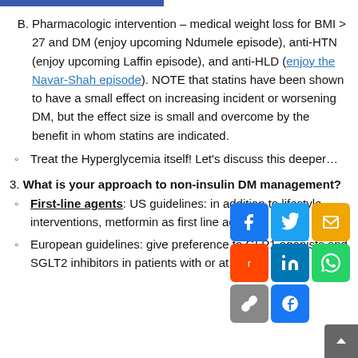B. Pharmacologic intervention – medical weight loss for BMI > 27 and DM (enjoy upcoming Ndumele episode), anti-HTN (enjoy upcoming Laffin episode), and anti-HLD (enjoy the Navar-Shah episode). NOTE that statins have been shown to have a small effect on increasing incident or worsening DM, but the effect size is small and overcome by the benefit in whom statins are indicated.
Treat the Hyperglycemia itself! Let's discuss this deeper…
3. What is your approach to non-insulin DM management?
First-line agents: US guidelines: in addition to lifestyle interventions, metformin as first line agent.
European guidelines: give preference to GLP1 agonists and SGLT2 inhibitors in patients with or at risk